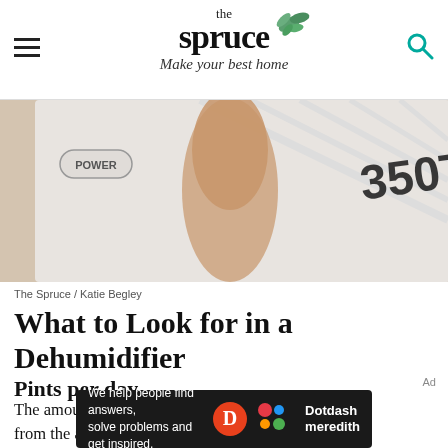the spruce / Make your best home
[Figure (photo): Close-up photo of a hand pressing the POWER button on a white Hoover dehumidifier unit]
The Spruce / Katie Begley
What to Look for in a Dehumidifier
Pints per day
The amount of liquid that a dehumidifier can remove from the air within a 24-hour period is
[Figure (other): Dotdash Meredith advertisement banner: 'We help people find answers, solve problems and get inspired.']